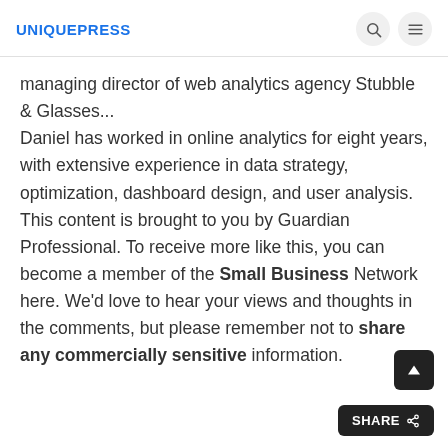UNIQUEPRESS
managing director of web analytics agency Stubble & Glasses... Daniel has worked in online analytics for eight years, with extensive experience in data strategy, optimization, dashboard design, and user analysis. This content is brought to you by Guardian Professional. To receive more like this, you can become a member of the Small Business Network here. We’d love to hear your views and thoughts in the comments, but please remember not to share any commercially sensitive information.